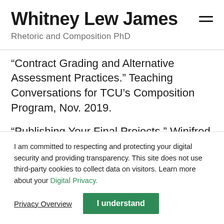Whitney Lew James
Rhetoric and Composition PhD
“Contract Grading and Alternative Assessment Practices.” Teaching Conversations for TCU’s Composition Program, Nov. 2019.
“Publishing Your Final Projects.” Winifred Bryan Horner Society, Oct. 2019.
I am committed to respecting and protecting your digital security and providing transparency. This site does not use third-party cookies to collect data on visitors. Learn more about your Digital Privacy.
Privacy Overview
I understand